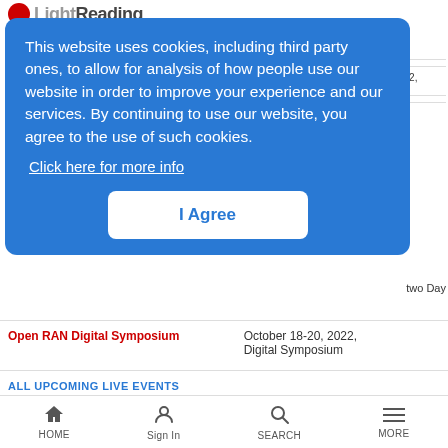Light Reading
This website uses cookies, including third party ones, to allow for analysis of how people use our website in order to improve your experience and our services. By continuing to use our website, you agree to the use of such cookies.
Click here for more info
I Agree
Open RAN Digital Symposium | October 18-20, 2022, Digital Symposium
ALL UPCOMING LIVE EVENTS
UPCOMING WEBINARS
HOME | Sign In | SEARCH | MORE